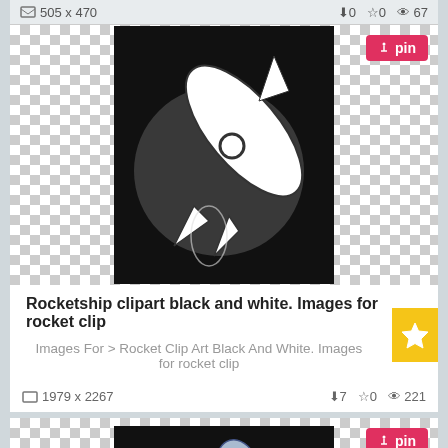505 x 470   ↓0  ☆0  👁 67
[Figure (illustration): Black and white rocketship clipart on black background with moon circle, checkerboard transparent background]
Rocketship clipart black and white. Images for rocket clip
Images For > Rocket Clip Art Black And White. Images for rocket clip
1979 x 2267   ↓7  ☆0  👁 221
[Figure (illustration): Colorful blue and grey rocket clipart with orange flames on black background, checkerboard transparent background]
Rocketship clipart Transparent b...